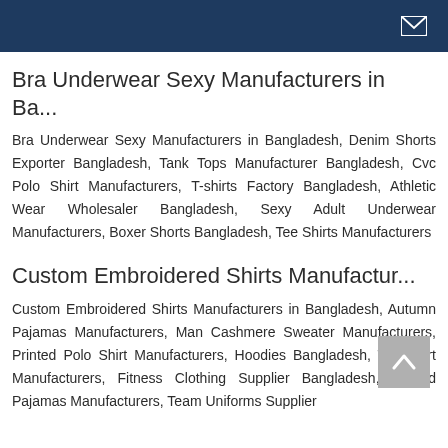Bra Underwear Sexy Manufacturers in Ba...
Bra Underwear Sexy Manufacturers in Bangladesh, Denim Shorts Exporter Bangladesh, Tank Tops Manufacturer Bangladesh, Cvc Polo Shirt Manufacturers, T-shirts Factory Bangladesh, Athletic Wear Wholesaler Bangladesh, Sexy Adult Underwear Manufacturers, Boxer Shorts Bangladesh, Tee Shirts Manufacturers
Custom Embroidered Shirts Manufactur...
Custom Embroidered Shirts Manufacturers in Bangladesh, Autumn Pajamas Manufacturers, Man Cashmere Sweater Manufacturers, Printed Polo Shirt Manufacturers, Hoodies Bangladesh, Tee Shirt Manufacturers, Fitness Clothing Supplier Bangladesh, Printed Pajamas Manufacturers, Team Uniforms Supplier